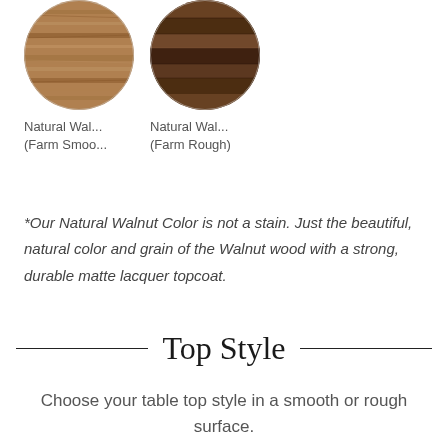[Figure (illustration): Two circular wood swatches side by side: left is lighter natural walnut (farm smooth), right is darker natural walnut (farm rough)]
Natural Wal... (Farm Smoo...
Natural Wal... (Farm Rough)
*Our Natural Walnut Color is not a stain. Just the beautiful, natural color and grain of the Walnut wood with a strong, durable matte lacquer topcoat.
Top Style
Choose your table top style in a smooth or rough surface.